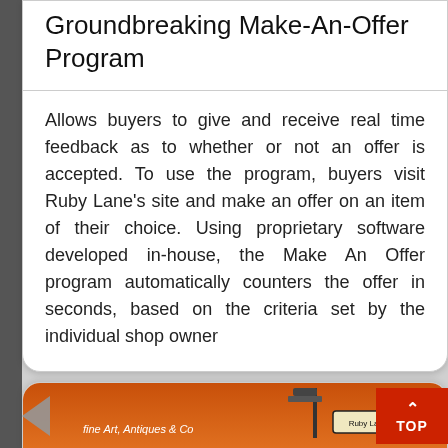Groundbreaking Make-An-Offer Program
Allows buyers to give and receive real time feedback as to whether or not an offer is accepted. To use the program, buyers visit Ruby Lane's site and make an offer on an item of their choice. Using proprietary software developed in-house, the Make An Offer program automatically counters the offer in seconds, based on the criteria set by the individual shop owner
[Figure (photo): Bottom portion showing a Ruby Lane antique store signage image with orange/sunset background, 'Fine Art, Antiques & Co...' text, a street lamp, and Ruby Lane sign. Navigation arrow on left and red TOP button on right.]